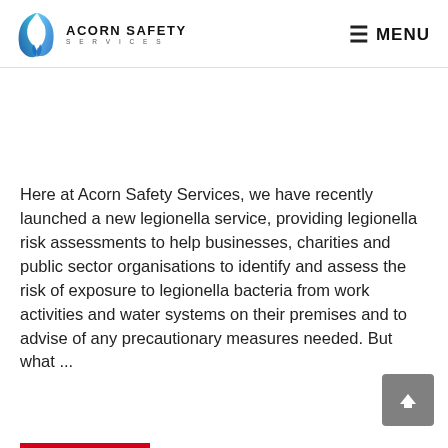ACORN SAFETY SERVICES | MENU
Here at Acorn Safety Services, we have recently launched a new legionella service, providing legionella risk assessments to help businesses, charities and public sector organisations to identify and assess the risk of exposure to legionella bacteria from work activities and water systems on their premises and to advise of any precautionary measures needed. But what ...